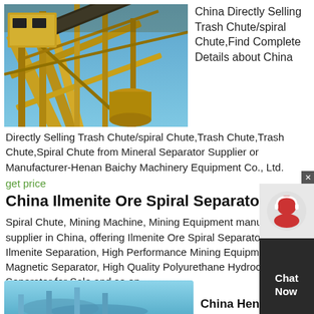[Figure (photo): Industrial mining equipment / spiral chute machinery with yellow metal framework against blue sky]
China Directly Selling Trash Chute/spiral Chute,Find Complete Details about China Directly Selling Trash Chute/spiral Chute,Trash Chute,Trash Chute,Spiral Chute from Mineral Separator Supplier or Manufacturer-Henan Baichy Machinery Equipment Co., Ltd.
get price
China Ilmenite Ore Spiral Separator For Ilmenite
Spiral Chute, Mining Machine, Mining Equipment manufacturer / supplier in China, offering Ilmenite Ore Spiral Separator for Ilmenite Separation, High Performance Mining Equipment Magnetic Separator, High Quality Polyurethane Hydrocyclone Separator for Sale and so on.
get price
[Figure (photo): Industrial mining/spiral separator equipment, bottom portion visible]
China Henan...